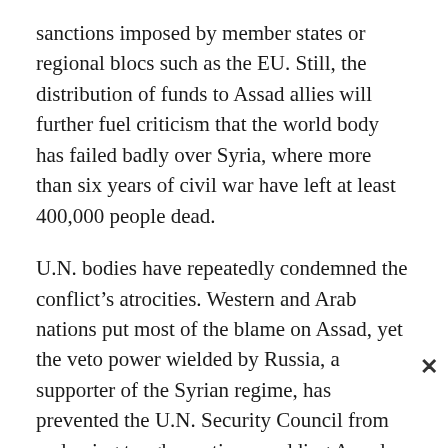sanctions imposed by member states or regional blocs such as the EU. Still, the distribution of funds to Assad allies will further fuel criticism that the world body has failed badly over Syria, where more than six years of civil war have left at least 400,000 people dead.
U.N. bodies have repeatedly condemned the conflict's atrocities. Western and Arab nations put most of the blame on Assad, yet the veto power wielded by Russia, a supporter of the Syrian regime, has prevented the U.N. Security Council from endorsing tougher action or adding Assad cronies to its blacklist.
“Any money going to Assad and his allies shows that the U.N. is not impartial but is in fact helping the largest player in the conflict,” said Kathleen Fallon, a spokeswoman for The Syria Campaign, an independent